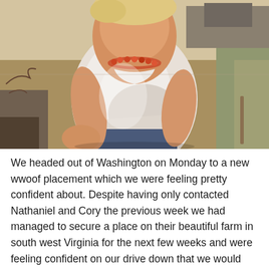[Figure (photo): A young child wearing a white sleeveless shirt and a beaded necklace, sitting outdoors on a sunny day in a grassy rural setting with a farm structure visible in the background.]
We headed out of Washington on Monday to a new wwoof placement which we were feeling pretty confident about. Despite having only contacted Nathaniel and Cory the previous week we had managed to secure a place on their beautiful farm in south west Virginia for the next few weeks and were feeling confident on our drive down that we would like it. A couple, a similar age to us and with two